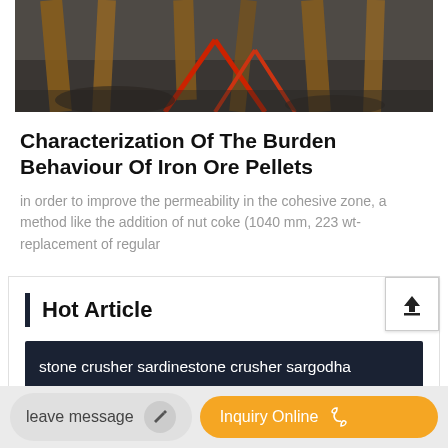[Figure (photo): Photograph of industrial machinery or mining equipment with wooden scaffolding/beams and red angled structural supports visible in a construction or mining site setting]
Characterization Of The Burden Behaviour Of Iron Ore Pellets
in order to improve the permeability in the cohesive zone, a method like the addition of nut coke (1040 mm, 223 wt- replacement of regular
Hot Article
stone crusher sardinestone crusher sargodha